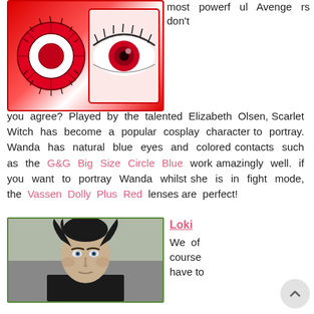[Figure (photo): Red colored contact lens on left and close-up of an eye wearing a red colored contact on right, with red border]
most powerful Avengers don't you agree? Played by the talented Elizabeth Olsen, Scarlet Witch has become a popular cosplay character to portray. Wanda has natural blue eyes and colored contacts such as the G&G Big Size Circle Blue work amazingly well. if you want to portray Wanda whilst she is in fight mode, the Vassen Dolly Plus Red lenses are perfect!
[Figure (photo): Close-up photo of Loki character (Tom Hiddleston) with dark hair and pale complexion, green border]
Loki
We of course have to